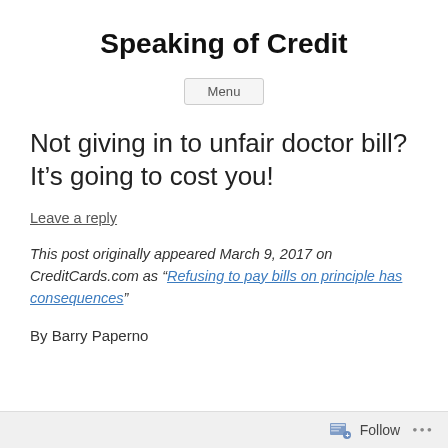Speaking of Credit
Menu
Not giving in to unfair doctor bill? It’s going to cost you!
Leave a reply
This post originally appeared March 9, 2017 on CreditCards.com as “Refusing to pay bills on principle has consequences”
By Barry Paperno
Follow ...